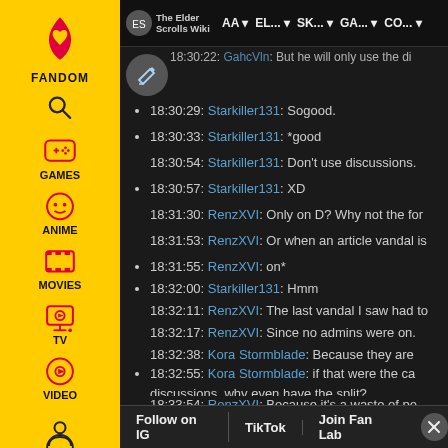[Figure (screenshot): Fandom wiki sidebar with yellow background showing icons and labels for GAMES, ANIME, MOVIES, TV, VIDEO categories, plus a Fandom flame/heart logo at top, search icon, and user icon at bottom]
The Elder Scrolls Wiki | AA | EL... | SK... | GA... | CO...
18:30:29: Starkiller131: Sogood.
18:30:33: Starkiller131: *good
18:30:54: Starkiller131: Don't use discussions.
18:30:57: Starkiller131: XD
18:31:30: RenzXVI: Only on D? Why not the for
18:31:53: RenzXVI: Or when an article vandal is
18:31:55: RenzXVI: on*
18:32:00: Starkiller131: Hmm
18:32:11: RenzXVI: The last vandal I saw had to
18:32:17: RenzXVI: Since no admins were on.
18:32:38: Kora Stormblade: Because they are
18:32:55: Kora Stormblade: if that were the ca discussions, why even have the split?
18:33:54: RenzXVI: Because it's a waste of po but they've helped out a lot on chat.
18:...
Follow on IG | TikTok | Join Fan Lab | X